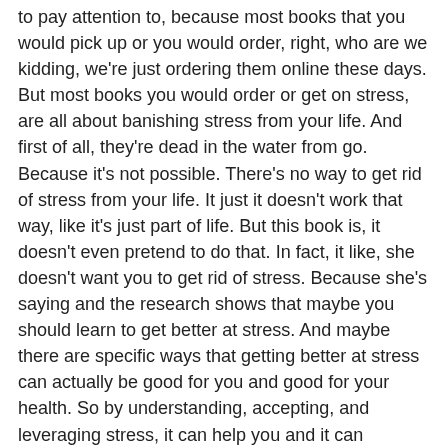to pay attention to, because most books that you would pick up or you would order, right, who are we kidding, we're just ordering them online these days. But most books you would order or get on stress, are all about banishing stress from your life. And first of all, they're dead in the water from go. Because it's not possible. There's no way to get rid of stress from your life. It just it doesn't work that way, like it's just part of life. But this book is, it doesn't even pretend to do that. In fact, it like, she doesn't want you to get rid of stress. Because she's saying and the research shows that maybe you should learn to get better at stress. And maybe there are specific ways that getting better at stress can actually be good for you and good for your health. So by understanding, accepting, and leveraging stress, it can help you and it can become an advantage to you. That is a revolutionary thought. And I love it. It's so awesome.
Dr. Melissa Smith 14:07
Okay, so there are two main parts to the book. So Part one is all about rethinking stress, really